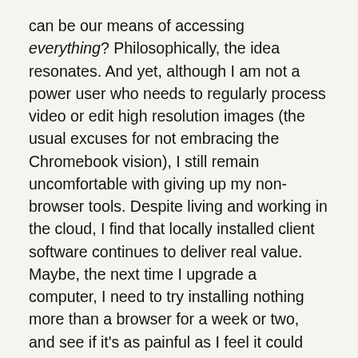can be our means of accessing everything? Philosophically, the idea resonates. And yet, although I am not a power user who needs to regularly process video or edit high resolution images (the usual excuses for not embracing the Chromebook vision), I still remain uncomfortable with giving up my non-browser tools. Despite living and working in the cloud, I find that locally installed client software continues to deliver real value. Maybe, the next time I upgrade a computer, I need to try installing nothing more than a browser for a week or two, and see if it's as painful as I feel it could be…
The cloud powers my business. The cloud is what I talk to clients about, it's what I write about, it's what people pay me to know about. The cloud (and, more generally, the web) make it possible for me to work with clients around the world, often without leaving a small market town in the East Riding of Yorkshire. For me, it's often used to…